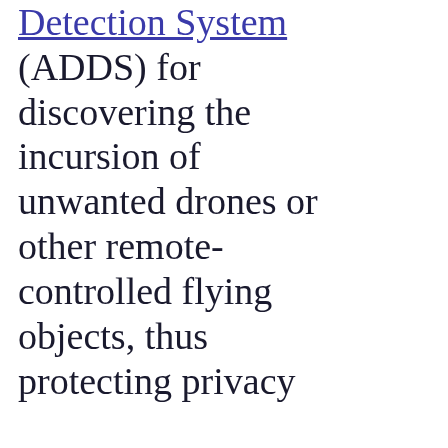Detection System (ADDS) for discovering the incursion of unwanted drones or other remote-controlled flying objects, thus protecting privacy